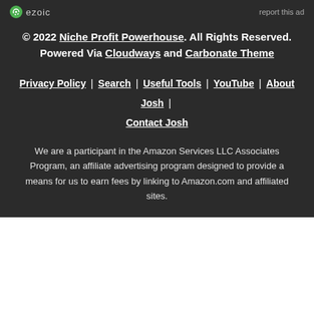[Figure (logo): Ezoic logo with circular icon and text 'ezoic', plus 'report this ad' link on the right]
© 2022 Niche Profit Powerhouse. All Rights Reserved. Powered Via Cloudways and Carbonate Theme
Privacy Policy | Search | Useful Tools | YouTube | About Josh | Contact Josh
We are a participant in the Amazon Services LLC Associates Program, an affiliate advertising program designed to provide a means for us to earn fees by linking to Amazon.com and affiliated sites.